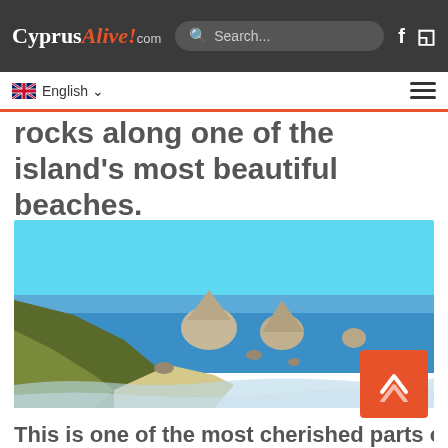CyprusAlive!.com — Search... [Facebook] [Instagram]
🇬🇧 English ∨  ☰
rocks along one of the island's most beautiful beaches.
[Figure (photo): Coastal landscape photo showing rocky sea stacks rising from the Mediterranean Sea near Cyprus, with cliffs, sandy beach, turquoise water, and clear blue sky. Large boulders visible in the water. Associated with Aphrodite's Rock / Petra tou Romiou area.]
This is one of the most cherished parts of